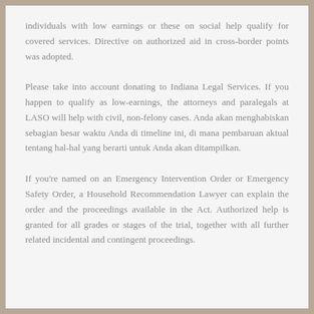individuals with low earnings or these on social help qualify for covered services. Directive on authorized aid in cross-border points was adopted.
Please take into account donating to Indiana Legal Services. If you happen to qualify as low-earnings, the attorneys and paralegals at LASO will help with civil, non-felony cases. Anda akan menghabiskan sebagian besar waktu Anda di timeline ini, di mana pembaruan aktual tentang hal-hal yang berarti untuk Anda akan ditampilkan.
If you're named on an Emergency Intervention Order or Emergency Safety Order, a Household Recommendation Lawyer can explain the order and the proceedings available in the Act. Authorized help is granted for all grades or stages of the trial, together with all further related incidental and contingent proceedings.